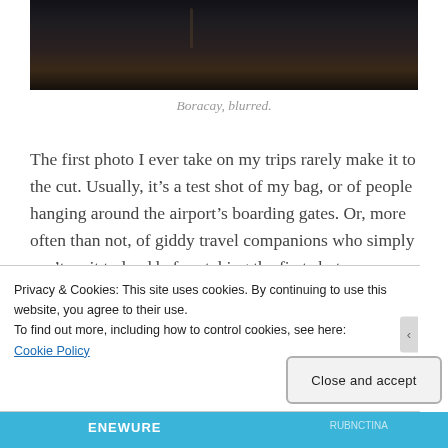[Figure (photo): Dark moody photograph of a beach scene at dusk or dawn, Boracay, with a silhouette of a person in background and dark foreground]
Boracay, blurred.
The first photo I ever take on my trips rarely make it to the cut. Usually, it's a test shot of my bag, or of people hanging around the airport's boarding gates. Or, more often than not, of giddy travel companions who simply can't wait to land before taking the first shot.
Privacy & Cookies: This site uses cookies. By continuing to use this website, you agree to their use.
To find out more, including how to control cookies, see here:
Cookie Policy
Close and accept